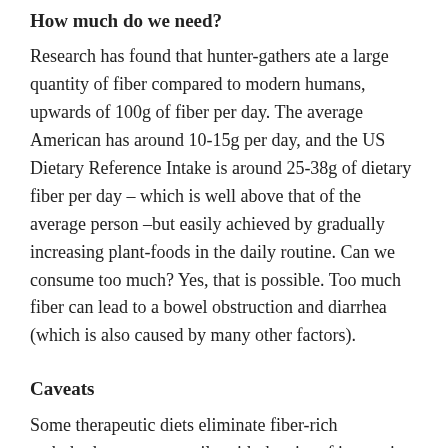How much do we need?
Research has found that hunter-gathers ate a large quantity of fiber compared to modern humans, upwards of 100g of fiber per day. The average American has around 10-15g per day, and the US Dietary Reference Intake is around 25-38g of dietary fiber per day – which is well above that of the average person –but easily achieved by gradually increasing plant-foods in the daily routine. Can we consume too much? Yes, that is possible. Too much fiber can lead to a bowel obstruction and diarrhea (which is also caused by many other factors).
Caveats
Some therapeutic diets eliminate fiber-rich carbohydrates temporarily with the aim of improving long-term health and shifting the microbial population. For example, this is the purpose of the low FODMAP diet for small intestine bacterial overgrowth (SIBO), and the candida protocol. Individuals who try